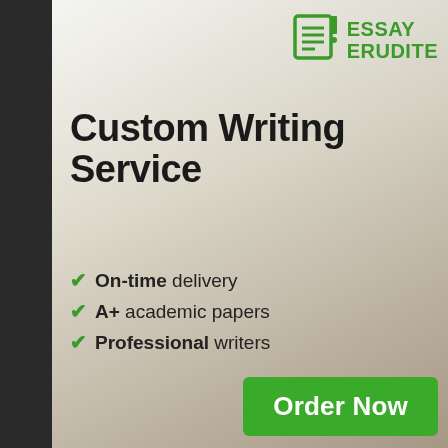[Figure (logo): Essay Erudite logo: green document icon with lines and pencil, green bold text reading ESSAY ERUDITE]
Custom Writing Service
On-time delivery
A+ academic papers
Professional writers
Order Now